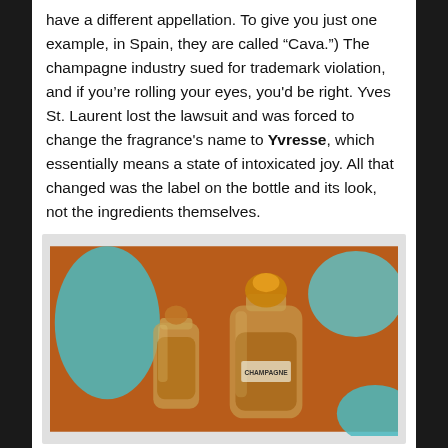have a different appellation. To give you just one example, in Spain, they are called “Cava.”) The champagne industry sued for trademark violation, and if you’re rolling your eyes, you'd be right. Yves St. Laurent lost the lawsuit and was forced to change the fragrance's name to Yvresse, which essentially means a state of intoxicated joy. All that changed was the label on the bottle and its look, not the ingredients themselves.
[Figure (photo): Two small perfume bottles placed side by side against an orange-brown background with teal blue decorative elements. The left bottle is smaller and clear/amber-tinted glass with a round stopper. The right bottle is larger with a textured golden cap and has 'CHAMPAGNE' written on its label.]